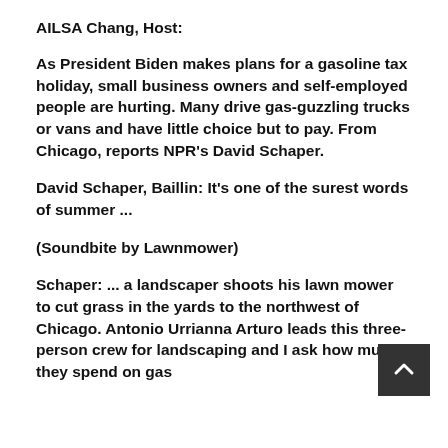AILSA Chang, Host:
As President Biden makes plans for a gasoline tax holiday, small business owners and self-employed people are hurting. Many drive gas-guzzling trucks or vans and have little choice but to pay. From Chicago, reports NPR's David Schaper.
David Schaper, Baillin: It's one of the surest words of summer ...
(Soundbite by Lawnmower)
Schaper: ... a landscaper shoots his lawn mower to cut grass in the yards to the northwest of Chicago. Antonio Urrianna Arturo leads this three-person crew for landscaping and I ask how much they spend on gas